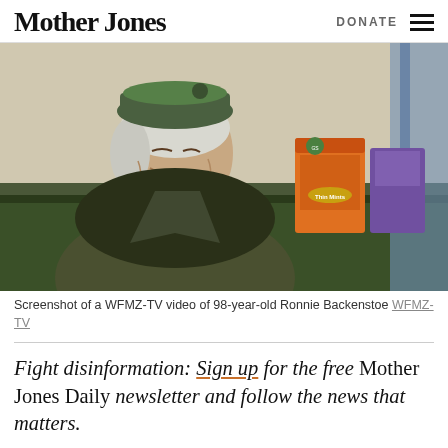Mother Jones  DONATE
[Figure (photo): Screenshot from WFMZ-TV video of 98-year-old Ronnie Backenstoe, an elderly person wearing a green hat and green jacket, seated at a table with Girl Scout cookie boxes visible in the background.]
Screenshot of a WFMZ-TV video of 98-year-old Ronnie Backenstoe WFMZ-TV
Fight disinformation: Sign up for the free Mother Jones Daily newsletter and follow the news that matters.